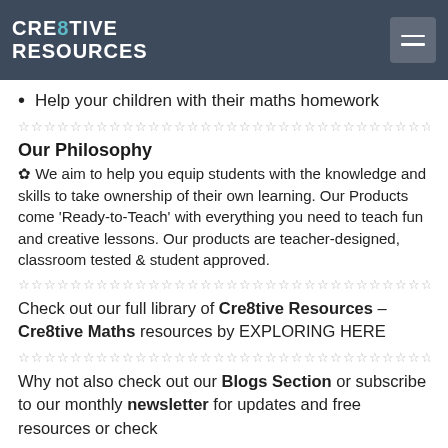CRE8TIVE RESOURCES
Help your children with their maths homework
☆☆☆☆☆☆☆☆☆☆☆☆☆☆☆☆☆☆☆☆☆☆☆☆☆☆☆☆☆☆☆☆☆☆
Our Philosophy
✿ We aim to help you equip students with the knowledge and skills to take ownership of their own learning. Our Products come 'Ready-to-Teach' with everything you need to teach fun and creative lessons. Our products are teacher-designed, classroom tested & student approved.
☆☆☆☆☆☆☆☆☆☆☆☆☆☆☆☆☆☆☆☆☆☆☆☆☆☆☆☆☆☆☆☆☆☆
Check out our full library of Cre8tive Resources – Cre8tive Maths resources by EXPLORING HERE
☆☆☆☆☆☆☆☆☆☆☆☆☆☆☆☆☆☆☆☆☆☆☆☆☆☆☆☆☆☆☆☆☆☆
Why not also check out our Blogs Section or subscribe to our monthly newsletter for updates and free resources or check